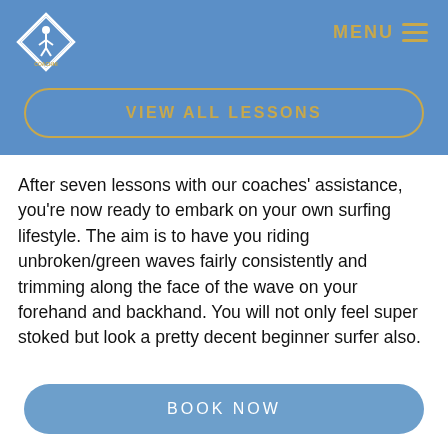MENU
[Figure (logo): Surfing coach diamond-shaped logo with surfer icon]
VIEW ALL LESSONS
After seven lessons with our coaches' assistance, you're now ready to embark on your own surfing lifestyle. The aim is to have you riding unbroken/green waves fairly consistently and trimming along the face of the wave on your forehand and backhand. You will not only feel super stoked but look a pretty decent beginner surfer also.
How to redeem future Lessons in your package
If purchasing a Surfing Progression Package, choose your
BOOK NOW